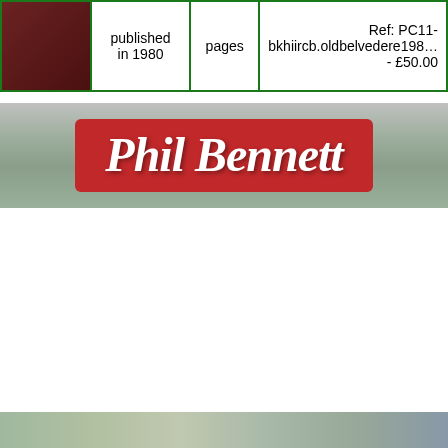| [image] | published in 1980 | pages | Ref: PC11-... bkhiircb.oldbelvedere198... - £50.00 |
| --- | --- | --- | --- |
[Figure (photo): Phil Bennett red banner sign with background scenery]
OLD WESLEY - Old Wesley Ru... A Centenary History 1891-199... Esbeck
A history of this Irish club with team p... illustrations with lists of club honours, off... from 1891-1991. Club president in 1... foreword was former Ireland and British... secondhand booklet in very g...
| [image] | published in 1991 | 126 pages | Ref: PC1... bkhiircb.oldwesley19... bl - £30... |
| --- | --- | --- | --- |
[Figure (photo): Bottom photo strip showing outdoor rugby scene]